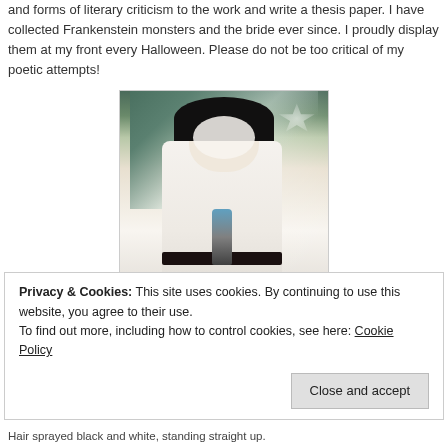and forms of literary criticism to the work and write a thesis paper. I have collected Frankenstein monsters and the bride ever since. I proudly display them at my front every Halloween. Please do not be too critical of my poetic attempts!
[Figure (photo): A person dressed in a Bride of Frankenstein Halloween costume, wearing white clothing with a black belt, holding a microphone, with dark hair styled upward, standing in an indoor setting.]
Privacy & Cookies: This site uses cookies. By continuing to use this website, you agree to their use.
To find out more, including how to control cookies, see here: Cookie Policy
Hair sprayed black and white, standing straight up.